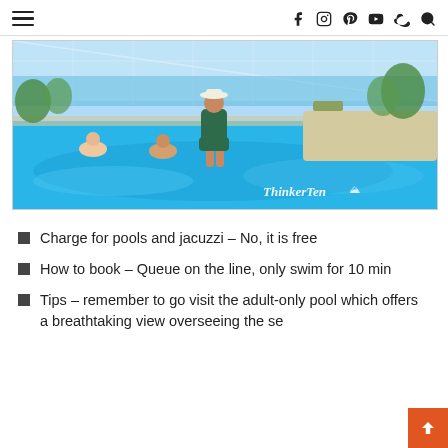Navigation header with hamburger menu and social icons: Facebook, Instagram, Pinterest, YouTube, Weibo, Search
[Figure (photo): Woman in green swimsuit and white hat standing in a large cruise ship indoor pool area with turquoise blue water, glass ceiling, tropical plants, and ocean visible in background. Watermark reads 'ThinkerTen' with mountain logo in bottom right.]
Charge for pools and jacuzzi – No, it is free
How to book – Queue on the line, only swim for 10 min
Tips – remember to go visit the adult-only pool which offers a breathtaking view overseeing the se…